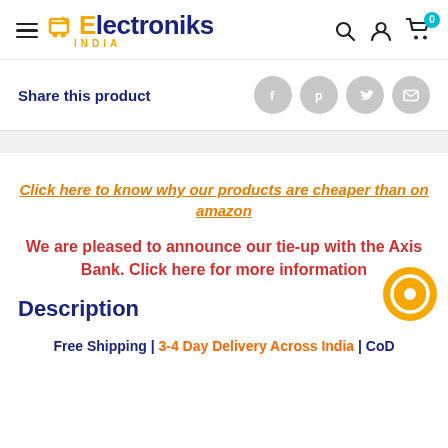[Figure (logo): Electroniks India logo with shopping cart icon in orange and dark blue text, INDIA subtitle in orange]
Share this product
[Figure (infographic): Four circular social share icons: Facebook (f), Pinterest (p), Twitter (bird), Email (envelope), all in gray]
Click here to know why our products are cheaper than on amazon
We are pleased to announce our tie-up with the Axis Bank. Click here for more information
Description
Free Shipping | 3-4 Day Delivery Across India | CoD